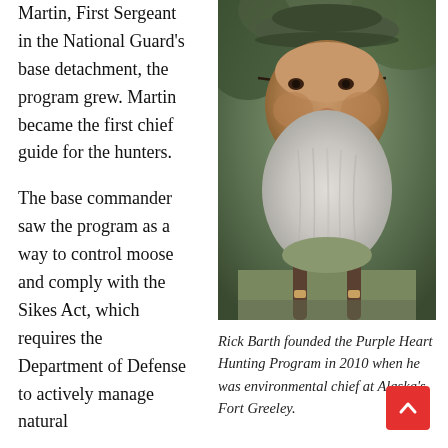Martin, First Sergeant in the National Guard's base detachment, the program grew. Martin became the first chief guide for the hunters.
The base commander saw the program as a way to control moose and comply with the Sikes Act, which requires the Department of Defense to actively manage natural
[Figure (photo): Close-up photo of an older man with a large white beard, wearing glasses, a green cap, and olive/brown clothing with suspenders, smiling outdoors.]
Rick Barth founded the Purple Heart Hunting Program in 2010 when he was environmental chief at Alaska's Fort Greeley.